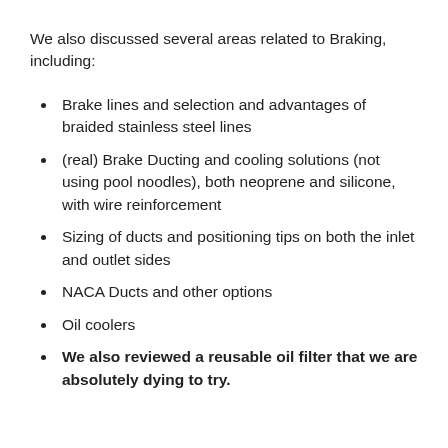We also discussed several areas related to Braking, including:
Brake lines and selection and advantages of braided stainless steel lines
(real) Brake Ducting and cooling solutions (not using pool noodles), both neoprene and silicone, with wire reinforcement
Sizing of ducts and positioning tips on both the inlet and outlet sides
NACA Ducts and other options
Oil coolers
We also reviewed a reusable oil filter that we are absolutely dying to try.